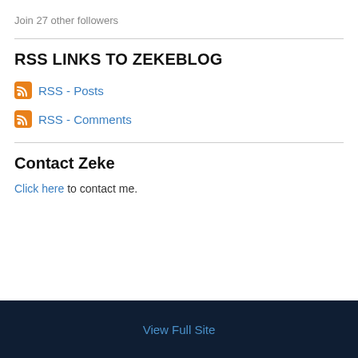Join 27 other followers
RSS LINKS TO ZEKEBLOG
RSS - Posts
RSS - Comments
Contact Zeke
Click here to contact me.
View Full Site